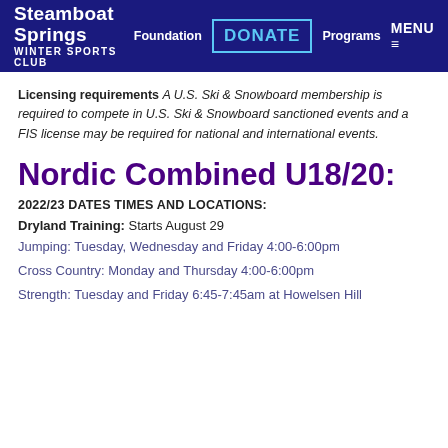Steamboat Springs WINTER SPORTS CLUB | Foundation | DONATE | Programs | MENU
Licensing requirements A U.S. Ski & Snowboard membership is required to compete in U.S. Ski & Snowboard sanctioned events and a FIS license may be required for national and international events.
Nordic Combined U18/20:
2022/23 DATES TIMES AND LOCATIONS:
Dryland Training: Starts August 29
Jumping: Tuesday, Wednesday and Friday 4:00-6:00pm
Cross Country: Monday and Thursday 4:00-6:00pm
Strength: Tuesday and Friday 6:45-7:45am at Howelsen Hill